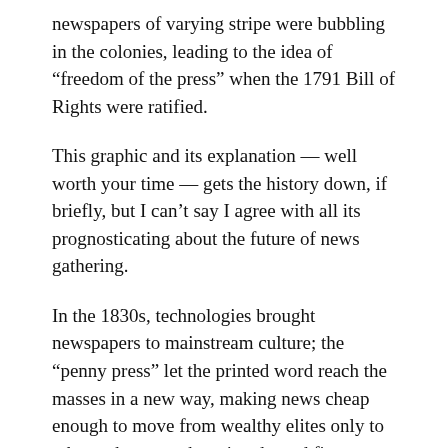newspapers of varying stripe were bubbling in the colonies, leading to the idea of “freedom of the press” when the 1791 Bill of Rights were ratified.
This graphic and its explanation — well worth your time — gets the history down, if briefly, but I can’t say I agree with all its prognosticating about the future of news gathering.
In the 1830s, technologies brought newspapers to mainstream culture; the “penny press” let the printed word reach the masses in a new way, making news cheap enough to move from wealthy elites only to others, shown as the printed word first becomes a noticeable portion of the graphic at above.
The 1880 census cataloged more than 11,000 newspapers in the country, noted by the